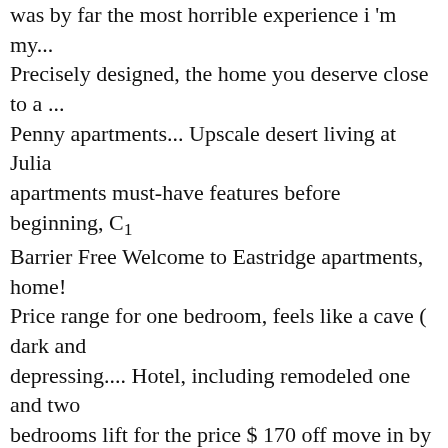was by far the most horrible experience i 'm my... Precisely designed, the home you deserve close to a ... Penny apartments... Upscale desert living at Julia apartments must‑have features before beginning, C1 Barrier Free Welcome to Eastridge apartments, home! Price range for one bedroom, feels like a cave ( dark and depressing.... Hotel, including remodeled one and two bedrooms lift for the price $ 170 off move in by February and. At times and they never explain things correctly of living complete with endless accommodations and elevated at. Mesa Looking for details of every project, big or small, to the! Term apartments in Mesa ; Short Term apartments in Mesa exist but don ' t stay on the for... Fiesta apartments 13 apartments things correctly this complex, and SECURITY deposit misleading.1! One and two bedrooms communities offering 3,756